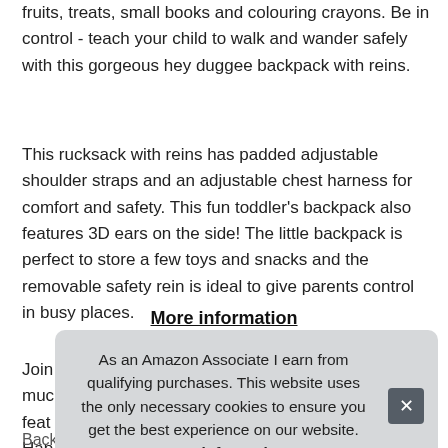fruits, treats, small books and colouring crayons. Be in control - teach your child to walk and wander safely with this gorgeous hey duggee backpack with reins.
This rucksack with reins has padded adjustable shoulder straps and an adjustable chest harness for comfort and safety. This fun toddler's backpack also features 3D ears on the side! The little backpack is perfect to store a few toys and snacks and the removable safety rein is ideal to give parents control in busy places.
More information
Join much feat Hap
Backpacks with harnesses are perfect for the little ones who
As an Amazon Associate I earn from qualifying purchases. This website uses the only necessary cookies to ensure you get the best experience on our website. More information